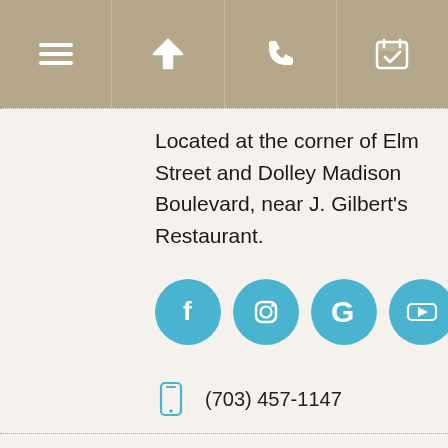[Figure (screenshot): Top navigation bar with four icon buttons on tan/khaki background: hamburger menu, directions arrow, phone, calendar/appointment]
Located at the corner of Elm Street and Dolley Madison Boulevard, near J. Gilbert's Restaurant.
[Figure (infographic): Four circular social media icons in blue: Facebook (f), Instagram (camera), Google (G), YouTube (play button)]
(703) 457-1147
admin@awilsonsmile.com
Schedule an Appointment